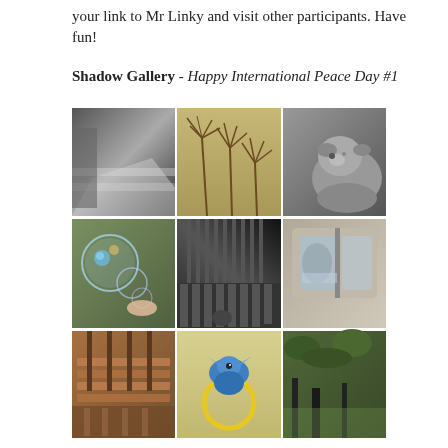your link to Mr Linky and visit other participants. Have fun!
Shadow Gallery - Happy International Peace Day #1
[Figure (photo): 3x3 grid of nine photographs showing shadows: (1) black & white photo of shadows on steps/door, (2) plant stem shadows on tan wall, (3) black & white dog portrait, (4) child blowing bubbles in sunlight, (5) black & white shadows through fence bars on floor, (6) reflection/shadow in bus or vehicle window, (7) wood bench/chairs with shadows, (8) blue toy bird with yellow ring, (9) outdoor scene with shadows]